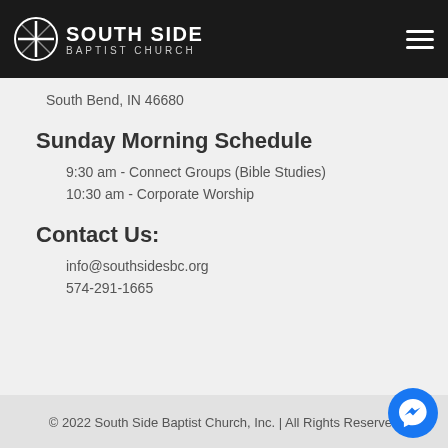South Side Baptist Church
South Bend, IN 46680
Sunday Morning Schedule
9:30 am - Connect Groups (Bible Studies)
10:30 am - Corporate Worship
Contact Us:
info@southsidesbc.org
574-291-1665
© 2022 South Side Baptist Church, Inc. | All Rights Reserved